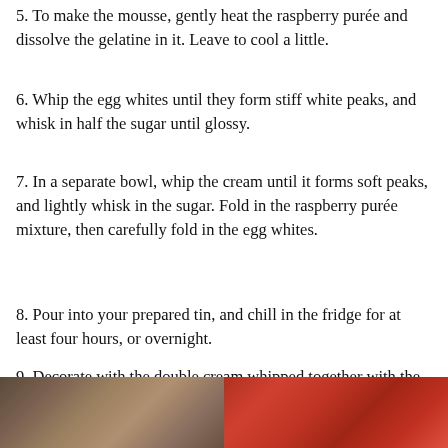5. To make the mousse, gently heat the raspberry purée and dissolve the gelatine in it. Leave to cool a little.
6. Whip the egg whites until they form stiff white peaks, and whisk in half the sugar until glossy.
7. In a separate bowl, whip the cream until it forms soft peaks, and lightly whisk in the sugar. Fold in the raspberry purée mixture, then carefully fold in the egg whites.
8. Pour into your prepared tin, and chill in the fridge for at least four hours, or overnight.
9. Decorate with the double cream whipped together with the sugar and tonka, followed by the raspberries on top. Unmould, then slice, serve and enjoy!
[Figure (photo): Two-panel photo: left panel shows hands working with cooking ingredients/equipment on a table; right panel shows red raspberries.]